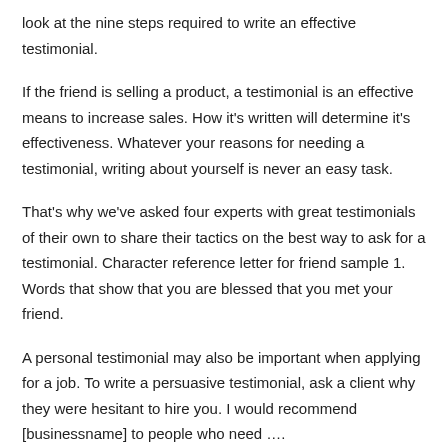look at the nine steps required to write an effective testimonial.
If the friend is selling a product, a testimonial is an effective means to increase sales. How it's written will determine it's effectiveness. Whatever your reasons for needing a testimonial, writing about yourself is never an easy task.
That's why we've asked four experts with great testimonials of their own to share their tactics on the best way to ask for a testimonial. Character reference letter for friend sample 1. Words that show that you are blessed that you met your friend.
A personal testimonial may also be important when applying for a job. To write a persuasive testimonial, ask a client why they were hesitant to hire you. I would recommend [businessname] to people who need ….
Write a letter that has three or fo⊗paragraphs explaining how well